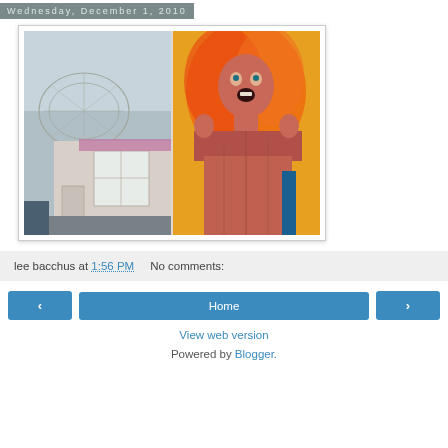Wednesday, December 1, 2010
[Figure (photo): Street scene with geodesic dome structure on left side and colorful mural/graffiti depicting a human figure on right side]
lee bacchus at 1:56 PM    No comments:
< Home >
View web version
Powered by Blogger.